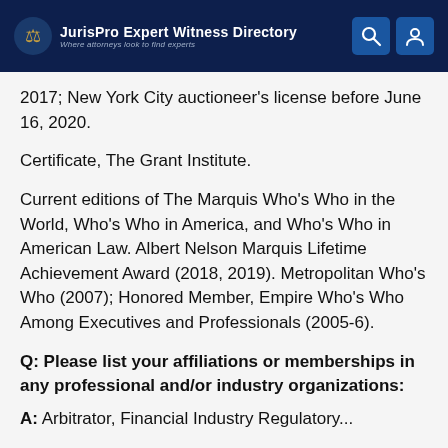JurisPro Expert Witness Directory — Where attorneys look to find experts
2017; New York City auctioneer's license before June 16, 2020.
Certificate, The Grant Institute.
Current editions of The Marquis Who's Who in the World, Who's Who in America, and Who's Who in American Law. Albert Nelson Marquis Lifetime Achievement Award (2018, 2019). Metropolitan Who's Who (2007); Honored Member, Empire Who's Who Among Executives and Professionals (2005-6).
Q: Please list your affiliations or memberships in any professional and/or industry organizations:
A: Arbitrator, Financial Industry Regulatory...